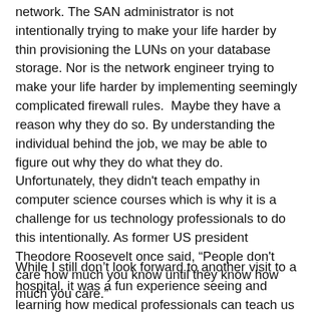network. The SAN administrator is not intentionally trying to make your life harder by thin provisioning the LUNs on your database storage. Nor is the network engineer trying to make your life harder by implementing seemingly complicated firewall rules.  Maybe they have a reason why they do so. By understanding the individual behind the job, we may be able to figure out why they do what they do. Unfortunately, they didn't teach empathy in computer science courses which is why it is a challenge for us technology professionals to do this intentionally. As former US president Theodore Roosevelt once said, “People don't care how much you know until they know how much you care.”
While I still don’t look forward to another visit to a hospital, it was a fun experience seeing and learning how medical professionals can teach us SQL Server DBAs a